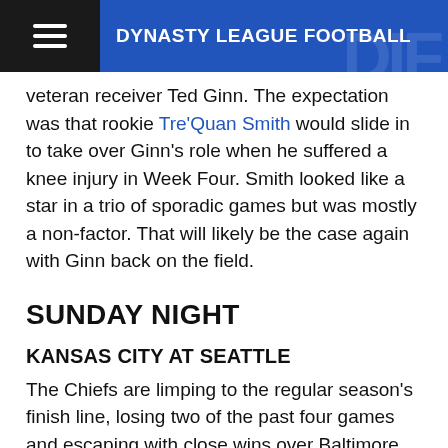DYNASTY LEAGUE FOOTBALL
veteran receiver Ted Ginn. The expectation was that rookie Tre'Quan Smith would slide in to take over Ginn's role when he suffered a knee injury in Week Four. Smith looked like a star in a trio of sporadic games but was mostly a non-factor. That will likely be the case again with Ginn back on the field.
SUNDAY NIGHT
KANSAS CITY AT SEATTLE
The Chiefs are limping to the regular season's finish line, losing two of the past four games and escaping with close wins over Baltimore and Oakland. This week, they are expected to play without running back Spencer Ware and, for the third straight week, wide receiver Sammy Watkins. This means another week for